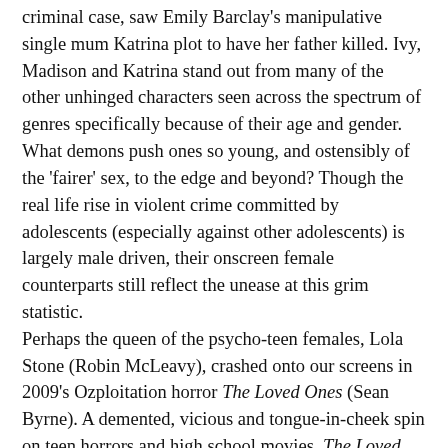criminal case, saw Emily Barclay's manipulative single mum Katrina plot to have her father killed. Ivy, Madison and Katrina stand out from many of the other unhinged characters seen across the spectrum of genres specifically because of their age and gender. What demons push ones so young, and ostensibly of the 'fairer' sex, to the edge and beyond? Though the real life rise in violent crime committed by adolescents (especially against other adolescents) is largely male driven, their onscreen female counterparts still reflect the unease at this grim statistic.
Perhaps the queen of the psycho-teen females, Lola Stone (Robin McLeavy), crashed onto our screens in 2009's Ozploitation horror The Loved Ones (Sean Byrne). A demented, vicious and tongue-in-cheek spin on teen horrors and high school movies, The Loved Ones placed Xavier Samuel's Brent in the, very dangerous, hands of Lola and her equally twisted father. Ivy, Madison and Katrina are mere amateurs in comparison to Lola Stone, whose monstrous behaviour stems